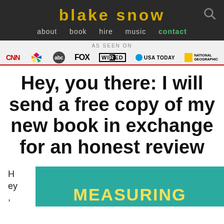blake snow
about   book   hire   music   contact
AS SEEN ON
[Figure (logo): Media logos: CNN, NBC, ABC, FOX, WIRED, USA TODAY, National Geographic]
Hey, you there: I will send a free copy of my new book in exchange for an honest review
Hey, read
[Figure (photo): Teal book cover showing the word MEASURING in yellow text]